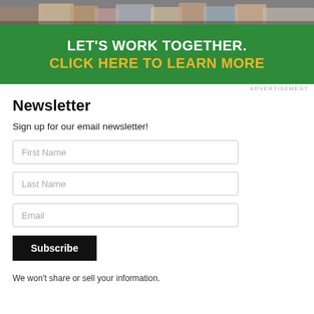[Figure (photo): Group photo of people at an event, cropped at top of page]
LET'S WORK TOGETHER. CLICK HERE TO LEARN MORE
ADVERTISEMENT
Newsletter
Sign up for our email newsletter!
First Name
Last Name
Email
Subscribe
We won't share or sell your information.